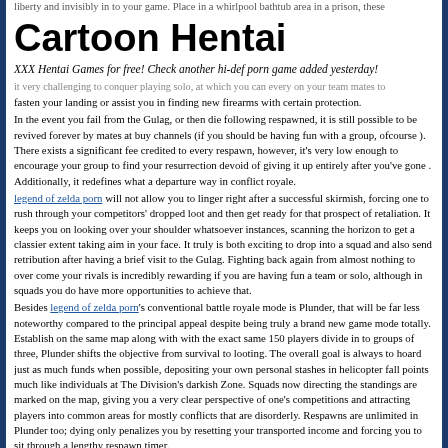liberty and invisibly in to your game. Place in a whirlpool bathtub area in a prison, these
Cartoon Hentai
XXX Hentai Games for free! Check another hi-def porn game added yesterday!
it very challenging to conquer playing solo, at which you can every on your team mates to fasten your landing or assist you in finding new firearms with certain protection.
In the event you fail from the Gulag, or then die following respawned, it is still possible to be revived forever by mates at buy channels (if you should be having fun with a group, ofcourse ). There exists a significant fee credited to every respawn, however, it's very low enough to encourage your group to find your resurrection devoid of giving it up entirely after you've gone . Additionally, it redefines what a departure way in conflict royale.
legend of zelda porn will not allow you to linger right after a successful skirmish, forcing one to rush through your competitors' dropped loot and then get ready for that prospect of retaliation. It keeps you on looking over your shoulder whatsoever instances, scanning the horizon to get a classier extent taking aim in your face. It truly is both exciting to drop into a squad and also send retribution after having a brief visit to the Gulag. Fighting back again from almost nothing to over come your rivals is incredibly rewarding if you are having fun a team or solo, although in squads you do have more opportunities to achieve that.
Besides legend of zelda porn's conventional battle royale mode is Plunder, that will be far less noteworthy compared to the principal appeal despite being truly a brand new game mode totally. Establish on the same map along with with the exact same 150 players divide in to groups of three, Plunder shifts the objective from survival to looting. The overall goal is always to hoard just as much funds when possible, depositing your own personal stashes in helicopter fall points much like individuals at The Division's darkish Zone. Squads now directing the standings are marked on the map, giving you a very clear perspective of one's competitions and attracting players into common areas for mostly conflicts that are disorderly. Respawns are unlimited in Plunder too; dying only penalizes you by resetting your transported income and forcing you to sit through a lengthy respawn timer.